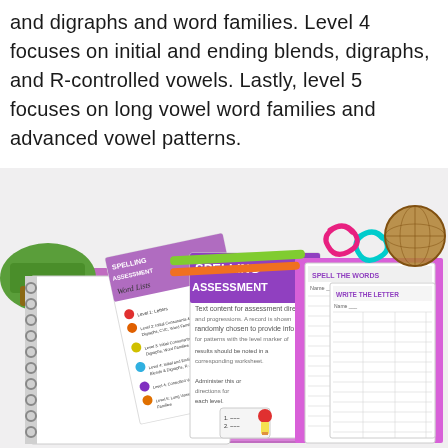and digraphs and word families. Level 4 focuses on initial and ending blends, digraphs, and R-controlled vowels. Lastly, level 5 focuses on long vowel word families and advanced vowel patterns.
[Figure (photo): Photo of educational spelling assessment materials spread on a desk: a spiral-bound notebook with word lists, a spelling assessment booklet, spell-the-words worksheets, pencils, paper clips, and a small potted plant.]